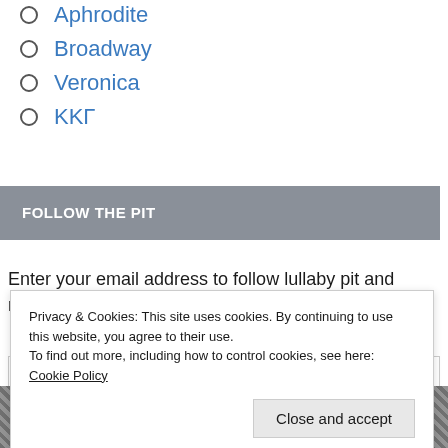Aphrodite
Broadway
Veronica
ΚΚΓ
FOLLOW THE PIT
Enter your email address to follow lullaby pit and receive notifications of new posts by email.
Enter your email address
Privacy & Cookies: This site uses cookies. By continuing to use this website, you agree to their use.
To find out more, including how to control cookies, see here: Cookie Policy
Close and accept